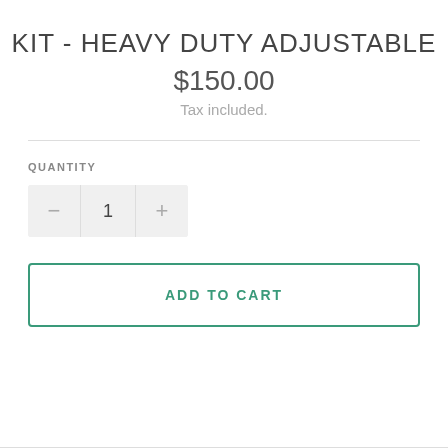KIT - HEAVY DUTY ADJUSTABLE
$150.00
Tax included.
QUANTITY
1
ADD TO CART